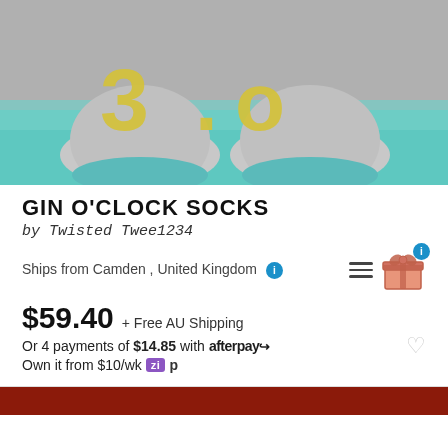[Figure (photo): Close-up photo of grey and teal socks with yellow letters '3 O' on the soles, lying on a grey surface.]
GIN O'CLOCK SOCKS
by Twisted Twee1234
Ships from Camden , United Kingdom
$59.40 + Free AU Shipping
Or 4 payments of $14.85 with afterpay
Own it from $10/wk zip